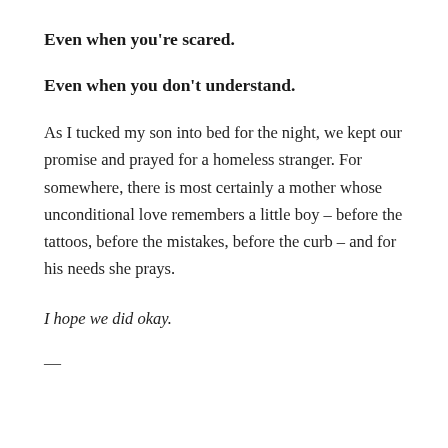Even when you're scared.
Even when you don't understand.
As I tucked my son into bed for the night, we kept our promise and prayed for a homeless stranger. For somewhere, there is most certainly a mother whose unconditional love remembers a little boy – before the tattoos, before the mistakes, before the curb – and for his needs she prays.
I hope we did okay.
—